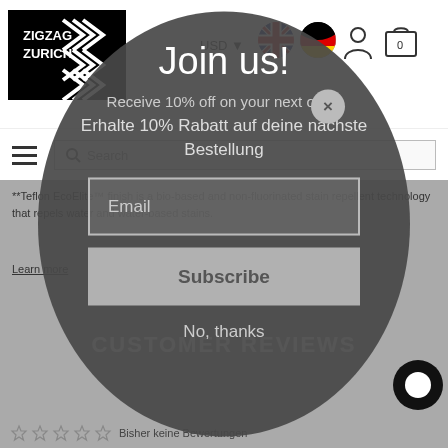[Figure (screenshot): Zigzag Zurich website header with logo, USD currency selector, British and German flag icons, user and cart icons]
**Teflon EcoElite™ finish is a bio-based and non-fluorinated stain repellent technology that repels water and water-based stains.
Learn more
Join us!
Receive 10% off on your next order
Erhalte 10% Rabatt auf deine nächste Bestellung
Email
Subscribe
CUSTOMER REVIEWS
No, thanks
Bisher keine Bewertungen